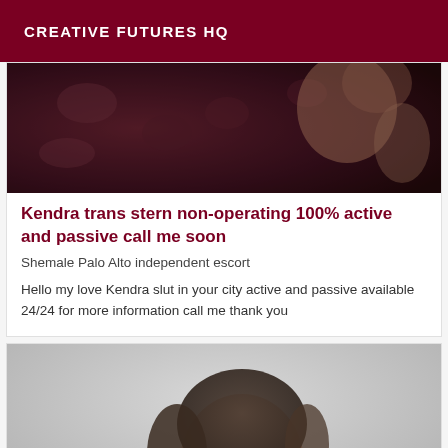CREATIVE FUTURES HQ
[Figure (photo): Dark photo of a person with floral background, face partially visible]
Kendra trans stern non-operating 100% active and passive call me soon
Shemale Palo Alto independent escort
Hello my love Kendra slut in your city active and passive available 24/24 for more information call me thank you
[Figure (photo): Photo of a person with short dark hair shown from behind/side, light grey background]